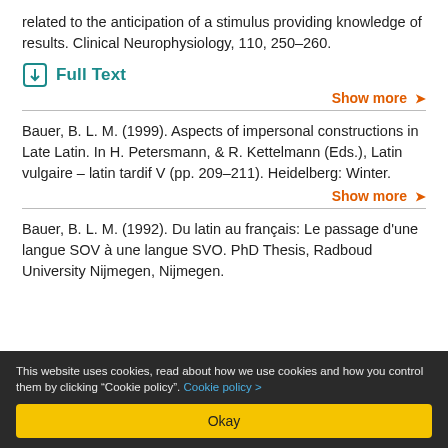related to the anticipation of a stimulus providing knowledge of results. Clinical Neurophysiology, 110, 250–260.
Full Text
Show more
Bauer, B. L. M. (1999). Aspects of impersonal constructions in Late Latin. In H. Petersmann, & R. Kettelmann (Eds.), Latin vulgaire – latin tardif V (pp. 209–211). Heidelberg: Winter.
Show more
Bauer, B. L. M. (1992). Du latin au français: Le passage d'une langue SOV à une langue SVO. PhD Thesis, Radboud University Nijmegen, Nijmegen.
This website uses cookies, read about how we use cookies and how you control them by clicking "Cookie policy". Cookie policy >
Okay